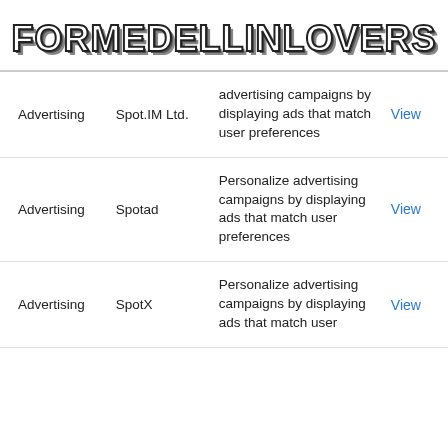FORMEDELLINLOVERS
| Category | Company | Description | Action |
| --- | --- | --- | --- |
| Advertising | Spot.IM Ltd. | advertising campaigns by displaying ads that match user preferences | View |
| Advertising | Spotad | Personalize advertising campaigns by displaying ads that match user preferences | View |
| Advertising | SpotX | Personalize advertising campaigns by displaying ads that match user | View |